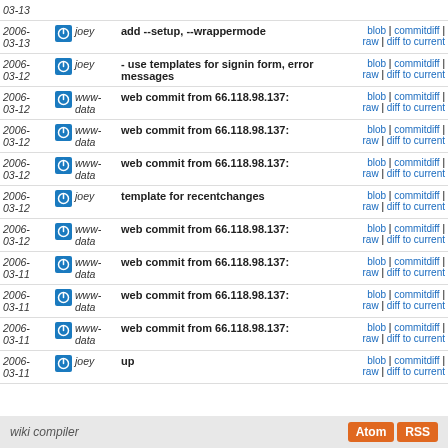| Date | Author | Message | Links |
| --- | --- | --- | --- |
| 2006-03-13 | joey | add --setup, --wrappermode | blob | commitdiff | raw | diff to current |
| 2006-03-12 | joey | - use templates for signin form, error messages | blob | commitdiff | raw | diff to current |
| 2006-03-12 | www-data | web commit from 66.118.98.137: | blob | commitdiff | raw | diff to current |
| 2006-03-12 | www-data | web commit from 66.118.98.137: | blob | commitdiff | raw | diff to current |
| 2006-03-12 | www-data | web commit from 66.118.98.137: | blob | commitdiff | raw | diff to current |
| 2006-03-12 | joey | template for recentchanges | blob | commitdiff | raw | diff to current |
| 2006-03-12 | www-data | web commit from 66.118.98.137: | blob | commitdiff | raw | diff to current |
| 2006-03-11 | www-data | web commit from 66.118.98.137: | blob | commitdiff | raw | diff to current |
| 2006-03-11 | www-data | web commit from 66.118.98.137: | blob | commitdiff | raw | diff to current |
| 2006-03-11 | www-data | web commit from 66.118.98.137: | blob | commitdiff | raw | diff to current |
| 2006-03-11 | joey | up | blob | commitdiff | raw | diff to current |
wiki compiler  Atom RSS